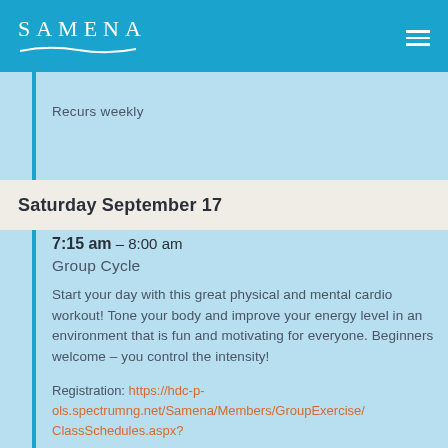SAMENA
Recurs weekly
Saturday September 17
7:15 am – 8:00 am
Group Cycle
Start your day with this great physical and mental cardio workout! Tone your body and improve your energy level in an environment that is fun and motivating for everyone. Beginners welcome – you control the intensity!
Registration: https://hdc-p-ols.spectrumng.net/Samena/Members/GroupExercise/ClassSchedules.aspx?